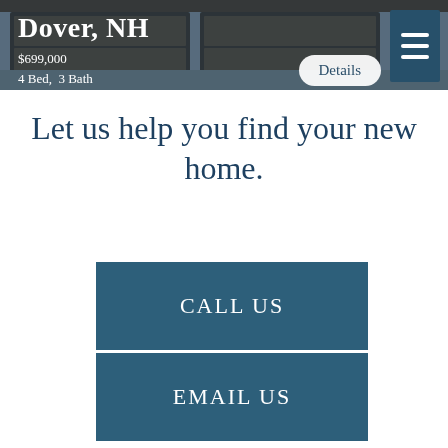[Figure (photo): Hero image of a house/garage exterior with dark steel blue overlay, showing Dover NH listing]
Dover, NH
$699,000
4 Bed,  3 Bath
Details
Let us help you find your new home.
CALL US
EMAIL US